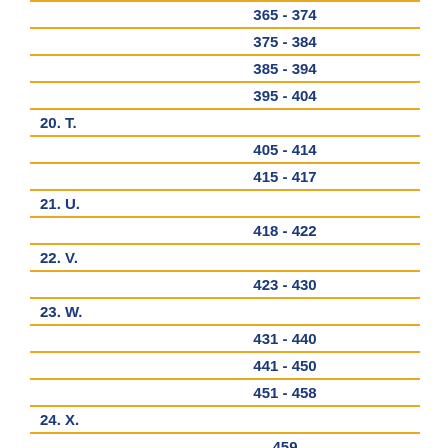365 - 374
375 - 384
385 - 394
395 - 404
20. T.
405 - 414
415 - 417
21. U.
418 - 422
22. V.
423 - 430
23. W.
431 - 440
441 - 450
451 - 458
24. X.
459
25. Y.